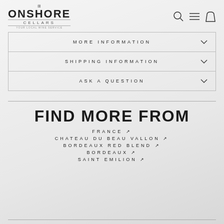ONSHORE CELLARS - YOUR LOCAL WINE SERVICE
MORE INFORMATION
SHIPPING INFORMATION
ASK A QUESTION
FIND MORE FROM
FRANCE ↗
CHATEAU DU BEAU VALLON ↗
BORDEAUX RED BLEND ↗
BORDEAUX ↗
SAINT EMILION ↗